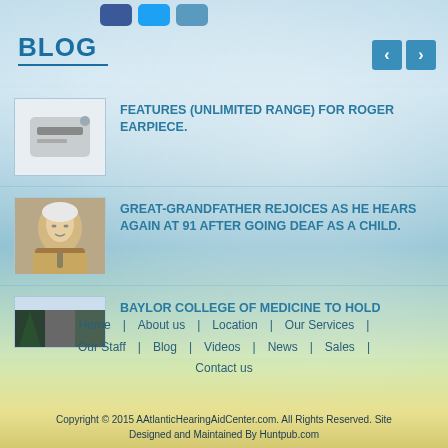[Figure (screenshot): Social media icon buttons at top: Facebook (blue), Twitter (light blue), and an eye/view icon (teal)]
BLOG
[Figure (photo): Thumbnail image of a hearing device / Roger earpiece transmitter on white background]
FEATURES (UNLIMITED RANGE) FOR ROGER EARPIECE.
[Figure (photo): Photo of an elderly white-haired man in a tan jacket and tie, smiling]
GREAT-GRANDFATHER REJOICES AS HE HEARS AGAIN AT 91 AFTER GOING DEAF AS A CHILD.
[Figure (photo): Thumbnail image with dark green and grey tones, partially visible]
BAYLOR COLLEGE OF MEDICINE TO HOLD
Home | About us | Location | Our Services | Our Staff | Blog | Videos | News | Sales | Contact us
Copyright © 2015 AAtlanticHearingAidCenter.com. All Rights Reserved. Site Designed and Maintained By Huntpub.com